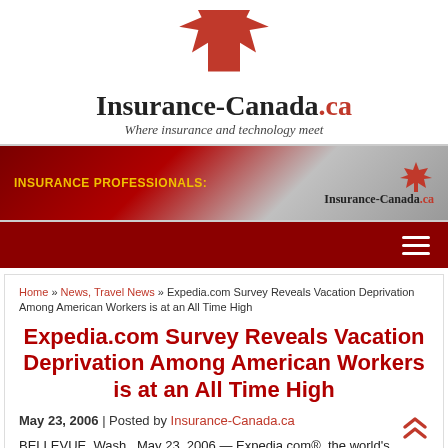[Figure (logo): Insurance-Canada.ca logo with red maple leaf and tagline 'Where insurance and technology meet']
[Figure (illustration): Insurance-Canada.ca banner with red gradient background, yellow bold text 'INSURANCE PROFESSIONALS:' on left, maple leaf icon and 'Insurance-Canada.ca' on right]
[Figure (illustration): Dark red navigation bar with hamburger menu icon (three white horizontal lines) on the right]
Home » News, Travel News » Expedia.com Survey Reveals Vacation Deprivation Among American Workers is at an All Time High
Expedia.com Survey Reveals Vacation Deprivation Among American Workers is at an All Time High
May 23, 2006 | Posted by Insurance-Canada.ca
BELLEVUE, Wash., May 23, 2006 — Expedia.com®, the world's